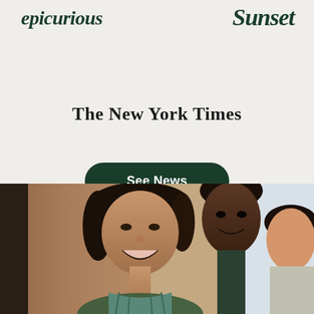[Figure (logo): epicurious logo in dark green italic serif font]
[Figure (logo): Sunset logo in dark green italic serif font]
[Figure (logo): The New York Times logo in black serif blackletter font]
[Figure (other): Dark green rounded rectangle button with white text reading 'See News']
[Figure (photo): Three people laughing and smiling in a warm indoor setting, a woman with dark hair in the foreground, a Black man behind her, and another woman partially visible on the right]